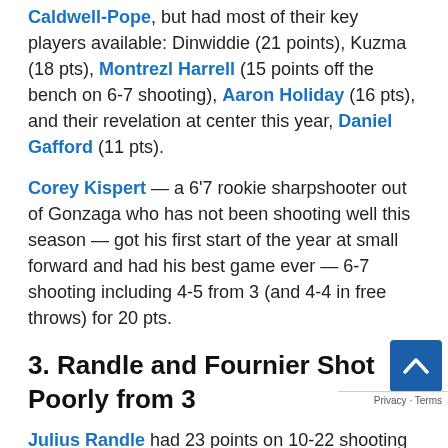Caldwell-Pope, but had most of their key players available: Dinwiddie (21 points), Kuzma (18 pts), Montrezl Harrell (15 points off the bench on 6-7 shooting), Aaron Holiday (16 pts), and their revelation at center this year, Daniel Gafford (11 pts).
Corey Kispert — a 6'7 rookie sharpshooter out of Gonzaga who has not been shooting well this season — got his first start of the year at small forward and had his best game ever — 6-7 shooting including 4-5 from 3 (and 4-4 in free throws) for 20 pts.
3. Randle and Fournier Shot Poorly from 3
Julius Randle had 23 points on 10-22 shooting but continued to have trouble from 3 — shooting 0-5 from there. He had 9 rebounds, but only 2 assists with 4 turnovers. He heard at times from the MSG audience. Kispert going 4-5 from while Julius Randle went 0-5 from 3 was the difference in this